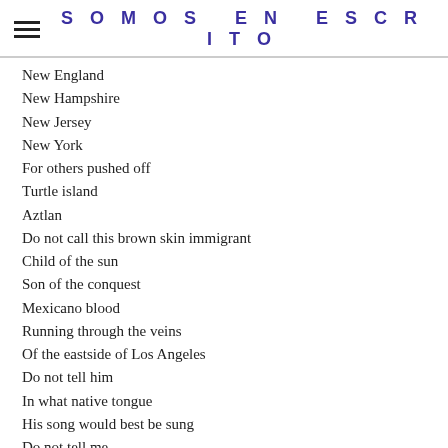SOMOS EN ESCRITO
New England
New Hampshire
New Jersey
New York
For others pushed off
Turtle island
Aztlan
Do not call this brown skin immigrant
Child of the sun
Son of the conquest
Mexicano blood
Running through the veins
Of the eastside of Los Angeles
Do not tell him
In what native tongue
His song would best be sung
Do not tell me
Who I am